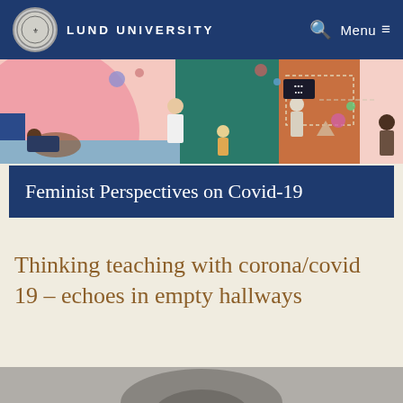LUND UNIVERSITY  🔍  Menu ≡
[Figure (illustration): Colorful illustrated banner showing diverse people engaged in various activities against geometric colored backgrounds (pink circle, teal, brown/orange triangles, pink). Figures include women in various poses, a child, floating geometric shapes and dots.]
Feminist Perspectives on Covid-19
Thinking teaching with corona/covid 19 – echoes in empty hallways
[Figure (photo): Partial view of a person's head/face at the bottom of the page, appears to be a greyscale or muted photo.]